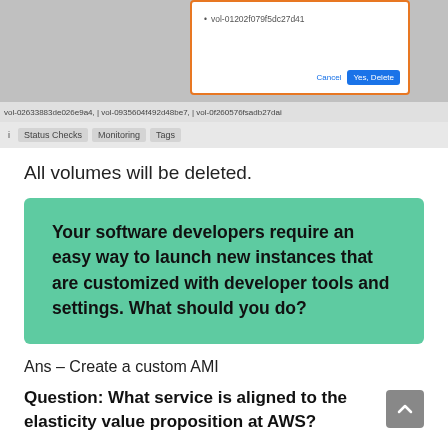[Figure (screenshot): AWS EC2 console screenshot showing a delete volumes dialog with a text input field containing 'vol-01202f079f5dc27d41', Cancel and Yes, Delete buttons, and a bottom bar with volume IDs and tabs for Status Checks, Monitoring, Tags]
All volumes will be deleted.
Your software developers require an easy way to launch new instances that are customized with developer tools and settings. What should you do?
Ans – Create a custom AMI
Question: What service is aligned to the elasticity value proposition at AWS?